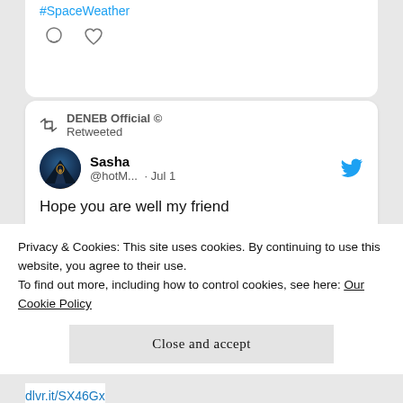[Figure (screenshot): Top of a Twitter/social media card showing icon row with comment bubble and heart icons, and a hashtag link '#SpaceWeather' partially visible at top]
[Figure (screenshot): Retweet card: DENEB Official © Retweeted, user Sasha @hotM... Jul 1, tweet text 'Hope you are well my friend', Twitter bird logo, user avatar]
GEORGE MILLER
Privacy & Cookies: This site uses cookies. By continuing to use this website, you agree to their use.
To find out more, including how to control cookies, see here: Our Cookie Policy
Close and accept
dlvr.it/SX46Gx